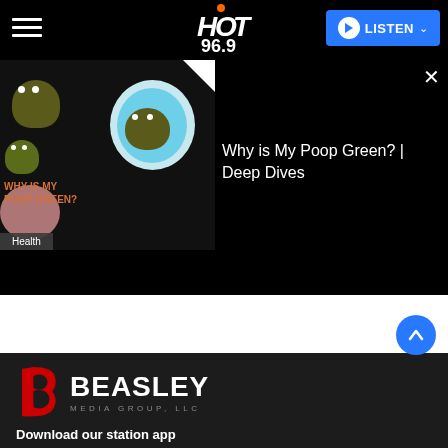HOT 96.9 | LISTEN
[Figure (screenshot): Podcast thumbnail showing cartoon poop characters on dark background with text 'WHY IS MY POOP GREEN?' and Health badge]
Why is My Poop Green? | Deep Dives
[Figure (logo): Beasley Media Group LLC logo with red stylized 'b' icon and white bold BEASLEY text]
Download our station app